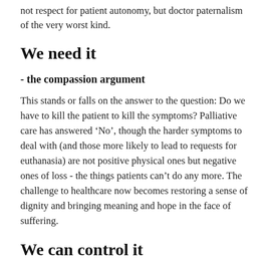not respect for patient autonomy, but doctor paternalism of the very worst kind.
We need it
- the compassion argument
This stands or falls on the answer to the question: Do we have to kill the patient to kill the symptoms? Palliative care has answered ‘No’, though the harder symptoms to deal with (and those more likely to lead to requests for euthanasia) are not positive physical ones but negative ones of loss - the things patients can’t do any more. The challenge to healthcare now becomes restoring a sense of dignity and bringing meaning and hope in the face of suffering.
We can control it
– the public policy argument
As the Dutch statistics confirm, we cannot. We never could